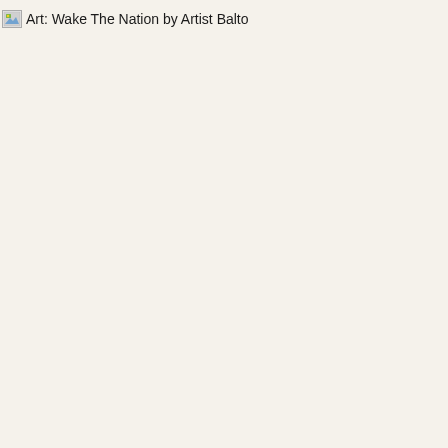[Figure (illustration): Broken image placeholder icon (small thumbnail-sized broken image icon)]
Art: Wake The Nation by Artist Balto